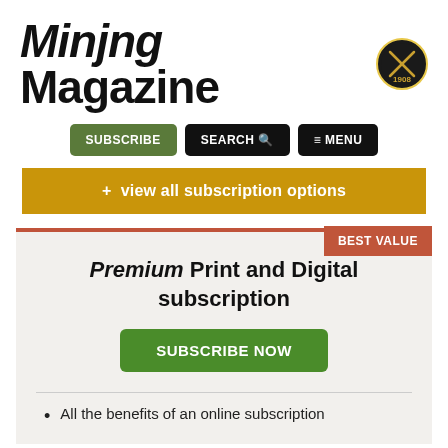[Figure (logo): Mining Magazine logo with text 'Mining Magazine' and a circular badge with crossed pickaxes and '1908']
[Figure (screenshot): Navigation buttons: SUBSCRIBE (green), SEARCH with magnifier icon (black), MENU with hamburger lines (black)]
+ view all subscription options
Premium Print and Digital subscription
SUBSCRIBE NOW
All the benefits of an online subscription